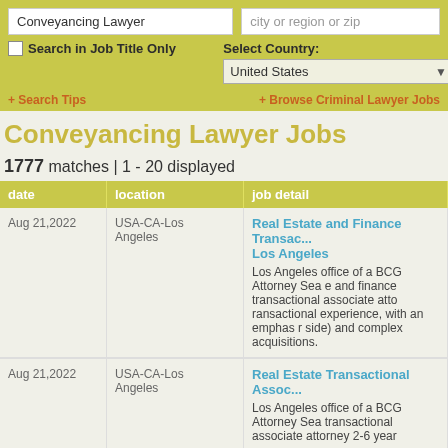Conveyancing Lawyer
city or region or zip
Search in Job Title Only
Select Country: United States
+ Search Tips
+ Browse Criminal Lawyer Jobs
Conveyancing Lawyer Jobs
1777 matches | 1 - 20 displayed
| date | location | job detail |
| --- | --- | --- |
| Aug 21,2022 | USA-CA-Los Angeles | Real Estate and Finance Transac... Los Angeles
Los Angeles office of a BCG Attorney Sea e and finance transactional associate atto ransactional experience, with an emphas r side) and complex acquisitions. |
| Aug 21,2022 | USA-CA-Los Angeles | Real Estate Transactional Assoc...
Los Angeles office of a BCG Attorney Sea transactional associate attorney 2-6 year |